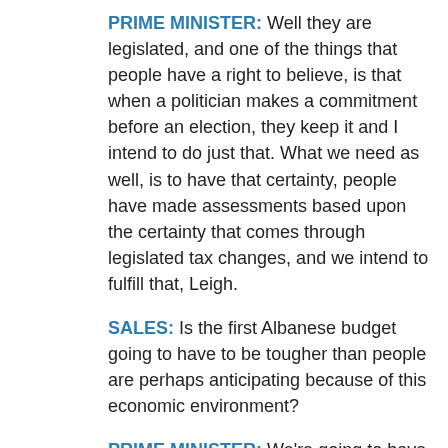PRIME MINISTER: Well they are legislated, and one of the things that people have a right to believe, is that when a politician makes a commitment before an election, they keep it and I intend to do just that. What we need as well, is to have that certainty, people have made assessments based upon the certainty that comes through legislated tax changes, and we intend to fulfill that, Leigh.
SALES: Is the first Albanese budget going to have to be tougher than people are perhaps anticipating because of this economic environment?
PRIME MINISTER: We're going to have to really put the brakes on some of the spending which is there. I've made it very clear, there are a range of things we would like to do, that we won't be able to do in our first budget. We will also be